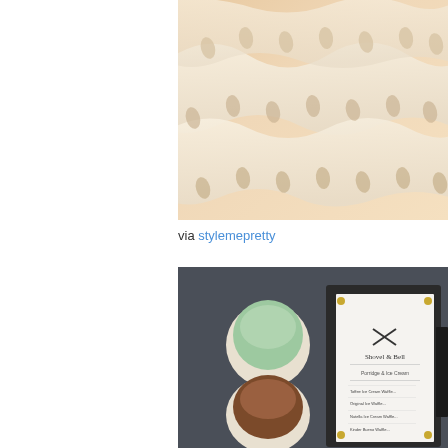[Figure (photo): Close-up photo of a white embossed cake or pastry with teardrop/leaf shaped impressions arranged in rows on a light peach/cream background]
via stylemepretty
[Figure (photo): Flat lay photo on dark grey background showing two white bowls of ice cream (mint green and chocolate brown), a menu card for 'Shovel & Bell' ice cream parlor, and dark branded materials]